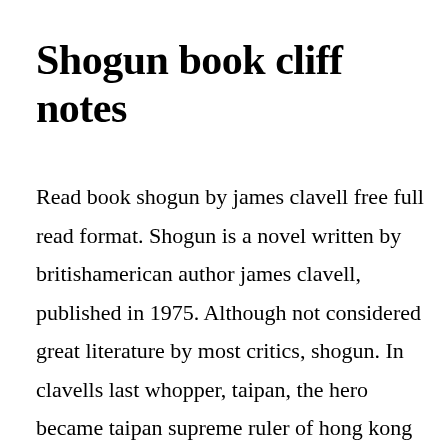Shogun book cliff notes
Read book shogun by james clavell free full read format. Shogun is a novel written by britishamerican author james clavell, published in 1975. Although not considered great literature by most critics, shogun. In clavells last whopper, taipan, the hero became taipan supreme ruler of hong kong following englands victory in the first opium war. An ebook reader can be a software application for